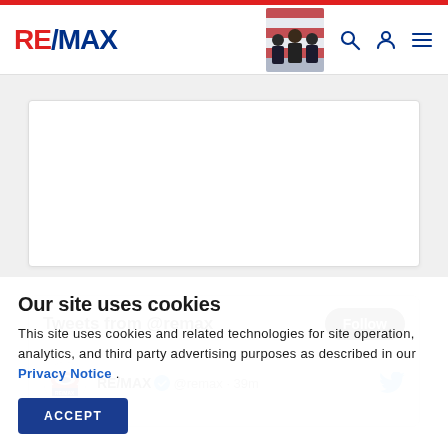RE/MAX
[Figure (screenshot): RE/MAX website screenshot showing header with logo, navigation icons, a photo of business people with American flag, a blank white content card, and a Twitter/Tweets widget showing @remax account with Follow button and a tweet from RE/MAX @remax 39m ago]
Tweets from @remax
RE/MAX @remax · 39m
Our site uses cookies
This site uses cookies and related technologies for site operation, analytics, and third party advertising purposes as described in our Privacy Notice .
ACCEPT